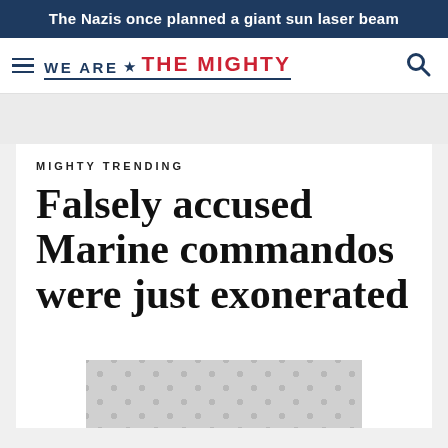The Nazis once planned a giant sun laser beam
[Figure (logo): We Are The Mighty logo with hamburger menu and search icon]
MIGHTY TRENDING
Falsely accused Marine commandos were just exonerated